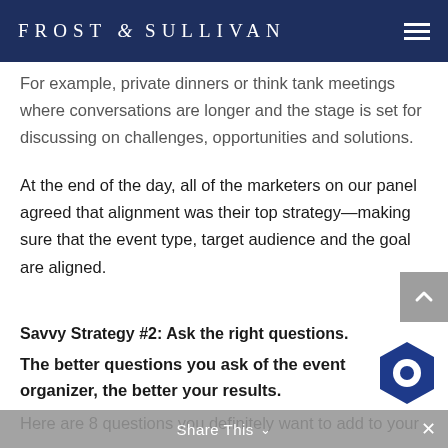FROST & SULLIVAN
For example, private dinners or think tank meetings where conversations are longer and the stage is set for discussing on challenges, opportunities and solutions.
At the end of the day, all of the marketers on our panel agreed that alignment was their top strategy—making sure that the event type, target audience and the goal are aligned.
Savvy Strategy #2: Ask the right questions.
The better questions you ask of the event organizer, the better your results.
Here are 8 questions you definitely want to add to your
Share This